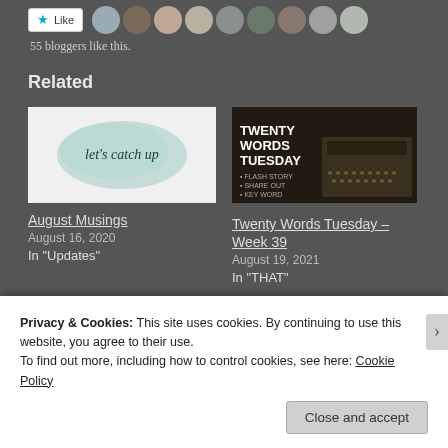[Figure (illustration): Like button with star icon followed by a row of blogger avatar profile photos]
55 bloggers like this.
Related
[Figure (illustration): Card image: watercolor teal blob with cursive text 'let's catch up' on white background]
August Musings
August 16, 2020
In "Updates"
[Figure (photo): Card image: dark background with vintage typewriter and bold text 'TWENTY WORDS TUESDAY - Week 39']
Twenty Words Tuesday – Week 39
August 19, 2021
In "THAT"
Privacy & Cookies: This site uses cookies. By continuing to use this website, you agree to their use.
To find out more, including how to control cookies, see here: Cookie Policy